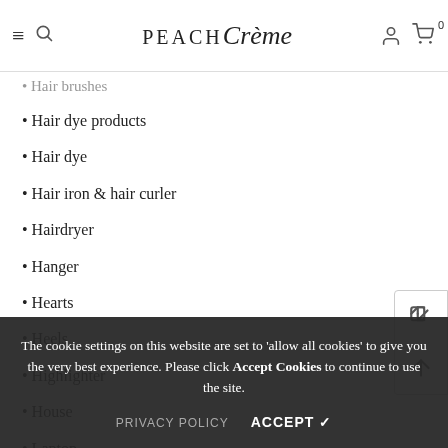PEACH Crème — navigation bar with hamburger, search, account, and cart icons
Hair brushes
Hair dye products
Hair dye
Hair iron & hair curler
Hairdryer
Hanger
Hearts
Heels
Highlighter
House
Laptop
Lashes
Lashes & brows
Lingerie & bras
Lipstick
Luggage
Man
The cookie settings on this website are set to 'allow all cookies' to give you the very best experience. Please click Accept Cookies to continue to use the site.
PRIVACY POLICY   ACCEPT ✓